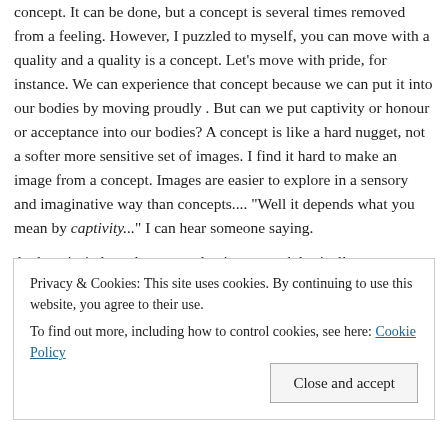concept. It can be done, but a concept is several times removed from a feeling. However, I puzzled to myself, you can move with a quality and a quality is a concept. Let's move with pride, for instance. We can experience that concept because we can put it into our bodies by moving proudly . But can we put captivity or honour or acceptance into our bodies? A concept is like a hard nugget, not a softer more sensitive set of images. I find it hard to make an image from a concept. Images are easier to explore in a sensory and imaginative way than concepts.... "Well it depends what you mean by captivity..." I can hear someone saying.
And yet isn't that what an academic approach basically
Privacy & Cookies: This site uses cookies. By continuing to use this website, you agree to their use.
To find out more, including how to control cookies, see here: Cookie Policy
Close and accept